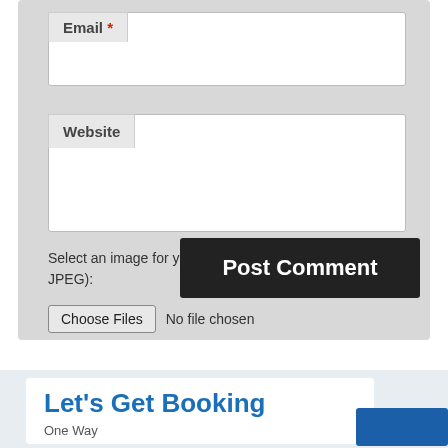Email *
Website
Select an image for your comment (GIF, PNG, JPG, JPEG):
Choose Files  No file chosen
Post Comment
Let's Get Booking
One Way